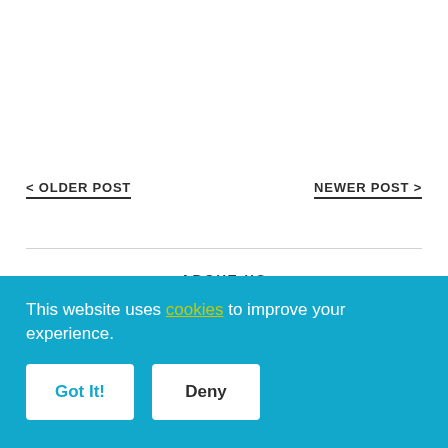< OLDER POST
NEWER POST >
ABOUT US
Certifications
This website uses cookies to improve your experience.
Got It!
Deny